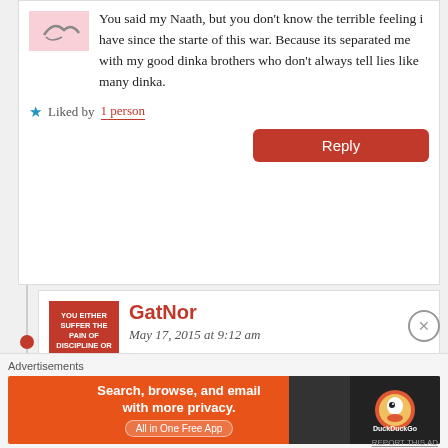[Figure (illustration): User avatar with pink/rose background and a hand-drawn signature-like mark]
You said my Naath, but you don't know the terrible feeling i have since the starte of this war. Because its separated me with my good dinka brothers who don't always tell lies like many dinka.
★ Liked by 1 person
Reply
[Figure (illustration): Red square image with motivational quote text: YOU EITHER SUFFER THE PAIN OF DISCIPLINE OR THE PAIN OF REGRET]
GatNor
May 17, 2015 at 9:12 am
Advertisements
[Figure (illustration): DuckDuckGo advertisement banner: Search, browse, and email with more privacy. All in One Free App]